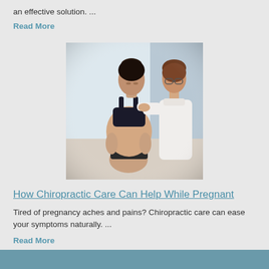an effective solution. ...
Read More
[Figure (photo): A pregnant woman sitting while a female chiropractor/therapist in white coat works on her upper back/shoulders. The pregnant woman is wearing a black sports bra and dark shorts and looking down at her belly.]
How Chiropractic Care Can Help While Pregnant
Tired of pregnancy aches and pains? Chiropractic care can ease your symptoms naturally. ...
Read More